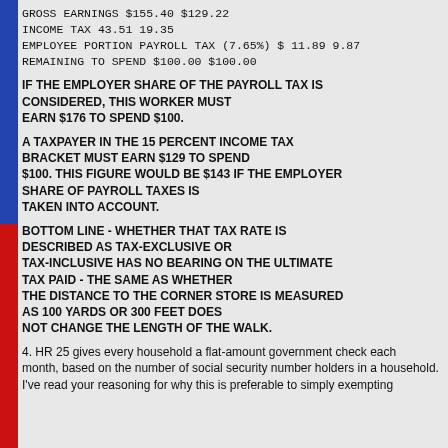| GROSS EARNINGS | $155.40 | $129.22 |
| INCOME TAX | 43.51 | 19.35 |
| EMPLOYEE PORTION PAYROLL TAX (7.65%) | $ 11.89 | 9.87 |
| REMAINING TO SPEND | $100.00 | $100.00 |
IF THE EMPLOYER SHARE OF THE PAYROLL TAX IS CONSIDERED, THIS WORKER MUST EARN $176 TO SPEND $100.
A TAXPAYER IN THE 15 PERCENT INCOME TAX BRACKET MUST EARN $129 TO SPEND $100. THIS FIGURE WOULD BE $143 IF THE EMPLOYER SHARE OF PAYROLL TAXES IS TAKEN INTO ACCOUNT.
BOTTOM LINE - WHETHER THAT TAX RATE IS DESCRIBED AS TAX-EXCLUSIVE OR TAX-INCLUSIVE HAS NO BEARING ON THE ULTIMATE TAX PAID - THE SAME AS WHETHER THE DISTANCE TO THE CORNER STORE IS MEASURED AS 100 YARDS OR 300 FEET DOES NOT CHANGE THE LENGTH OF THE WALK.
4. HR 25 gives every household a flat-amount government check each month, based on the number of social security number holders in a household. I've read your reasoning for why this is preferable to simply exempting